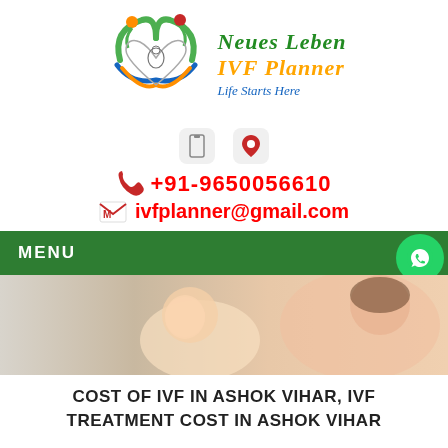[Figure (logo): Neues Leben IVF Planner logo with heart shape and figures, brand name 'Neues Leben IVF Planner' and tagline 'Life Starts Here']
[Figure (infographic): Two small icon boxes - a phone/document icon and a map pin icon]
📞 +91-9650056610
ivfplanner@gmail.com
MENU
[Figure (photo): Mother and baby smiling at each other, hero image]
COST OF IVF IN ASHOK VIHAR, IVF TREATMENT COST IN ASHOK VIHAR